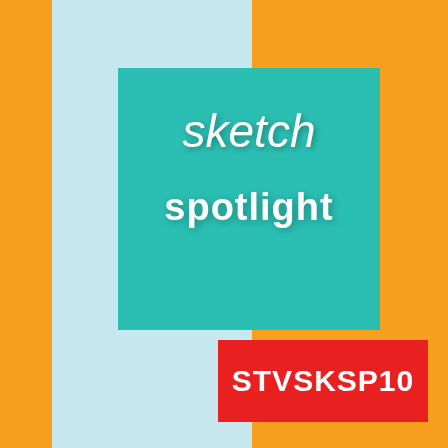[Figure (illustration): Cover page graphic with orange background, a light blue vertical panel on the left-center, an overlapping teal/turquoise square in the middle containing the text 'sketch spotlight' in white, and a red rectangle badge on the lower right containing the text 'STVSKSP10' in white bold letters.]
sketch spotlight
STVSKSP10